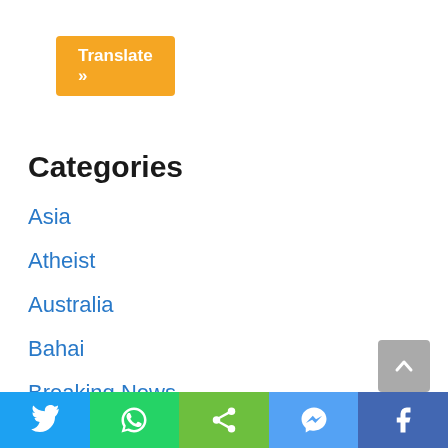[Figure (other): Orange 'Translate »' button]
Categories
Asia
Atheist
Australia
Bahai
Breaking News
Canada
Career
[Figure (other): Social sharing bar with Twitter, WhatsApp, Share, Messenger, Facebook icons]